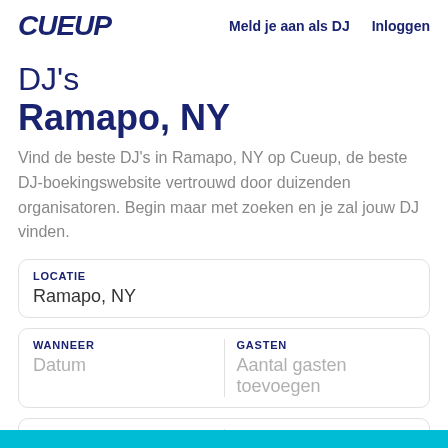CUEUP   Meld je aan als DJ   Inloggen
DJ's
Ramapo, NY
Vind de beste DJ's in Ramapo, NY op Cueup, de beste DJ-boekingswebsite vertrouwd door duizenden organisatoren. Begin maar met zoeken en je zal jouw DJ vinden.
LOCATIE
Ramapo, NY
WANNEER
Datum
GASTEN
Aantal gasten toevoegen
GELUIDSSYSTEEM
Geluidssysteem
VERLICHTING
Verlichting toevoegen